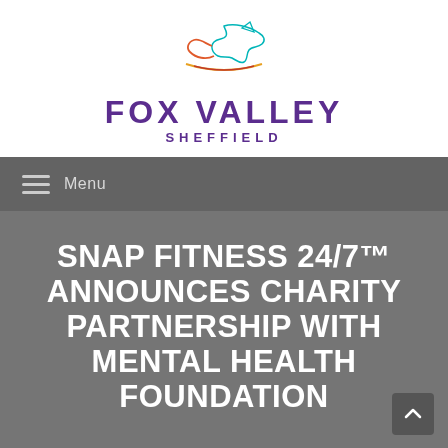[Figure (logo): Fox Valley Sheffield logo with stylized fox outline in teal/orange/red and purple text reading FOX VALLEY SHEFFIELD]
☰ Menu
SNAP FITNESS 24/7™ ANNOUNCES CHARITY PARTNERSHIP WITH MENTAL HEALTH FOUNDATION
Home > News